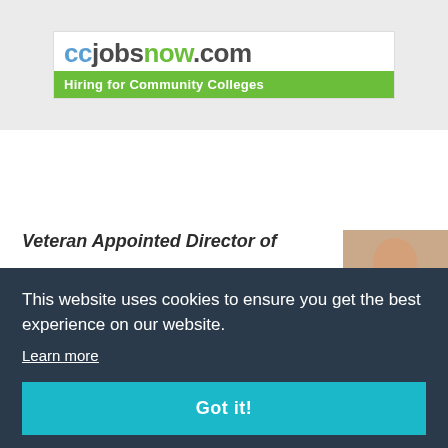[Figure (logo): ccjobsnow.com logo with 'Hiring for Community Colleges' green banner]
RELATED STORIES
OTHER NEWS
Veteran Appointed Director of
[Figure (photo): Headshot of a woman with dark hair, smiling]
This website uses cookies to ensure you get the best experience on our website.
Learn more
Got it!
[Figure (photo): Headshot of a man in a suit]
Increase Diversity in Military...